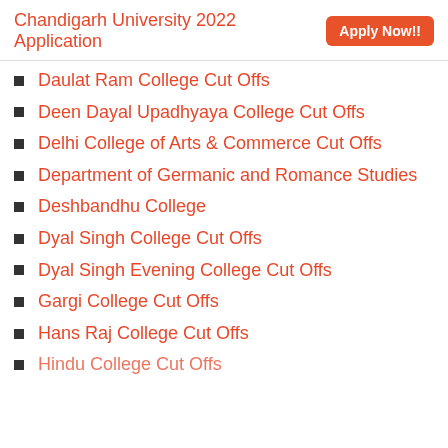Chandigarh University 2022 Application  Apply Now!!
Daulat Ram College Cut Offs
Deen Dayal Upadhyaya College Cut Offs
Delhi College of Arts & Commerce Cut Offs
Department of Germanic and Romance Studies
Deshbandhu College
Dyal Singh College Cut Offs
Dyal Singh Evening College Cut Offs
Gargi College Cut Offs
Hans Raj College Cut Offs
Hindu College Cut Offs